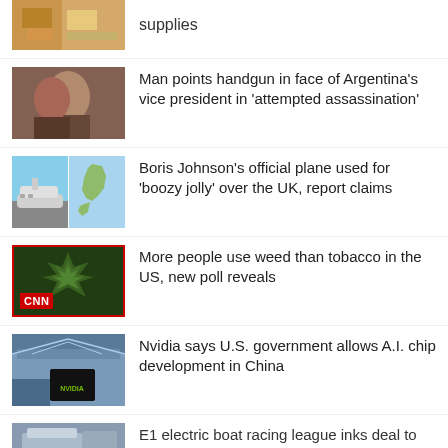[Figure (photo): Partial news thumbnail at top]
supplies
[Figure (photo): People photo for Argentina vice president story]
Man points handgun in face of Argentina's vice president in 'attempted assassination'
[Figure (photo): Split image: airplane on tarmac and map of UK]
Boris Johnson's official plane used for 'boozy jolly' over the UK, report claims
[Figure (photo): Cannabis plant with CNN logo overlay]
More people use weed than tobacco in the US, new poll reveals
[Figure (photo): Nvidia building/facility photo]
Nvidia says U.S. government allows A.I. chip development in China
[Figure (photo): Partial photo for E1 electric boat story]
E1 electric boat racing league inks deal to race in Rotterdam ahead of 2023 inaugural season